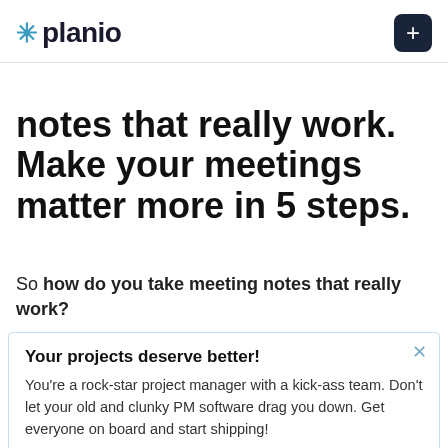* planio  +
notes that really work. Make your meetings matter more in 5 steps.
So how do you take meeting notes that really work?
Your projects deserve better!
You're a rock-star project manager with a kick-ass team. Don't let your old and clunky PM software drag you down. Get everyone on board and start shipping!
Try Planio today